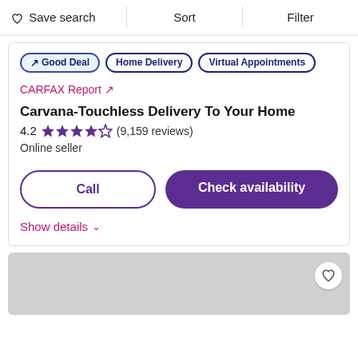Save search | Sort | Filter
↗ Good Deal
Home Delivery
Virtual Appointments
CARFAX Report ↗
Carvana-Touchless Delivery To Your Home
4.2 ★★★★☆ (9,159 reviews)
Online seller
Call
Check availability
Show details ∨
[Figure (other): Gray placeholder image card with a heart/favorite button in upper right]